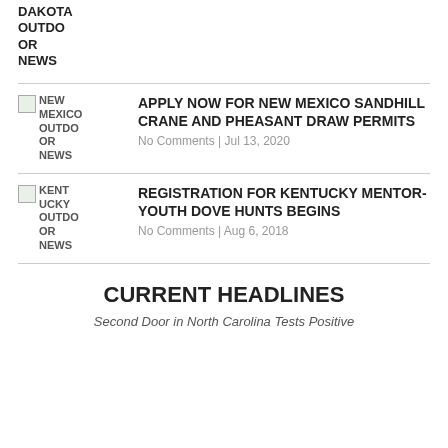DAKOTA OUTDOOR NEWS
APPLY NOW FOR NEW MEXICO SANDHILL CRANE AND PHEASANT DRAW PERMITS
No Comments | Jul 13, 2020
REGISTRATION FOR KENTUCKY MENTOR-YOUTH DOVE HUNTS BEGINS
No Comments | Aug 6, 2018
CURRENT HEADLINES
Second Door in North Carolina Tests Positive